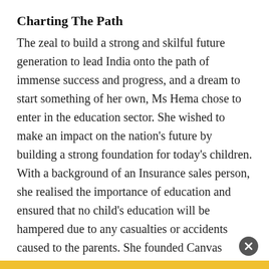Charting The Path
The zeal to build a strong and skilful future generation to lead India onto the path of immense success and progress, and a dream to start something of her own, Ms Hema chose to enter in the education sector. She wished to make an impact on the nation's future by building a strong foundation for today's children. With a background of an Insurance sales person, she realised the importance of education and ensured that no child's education will be hampered due to any casualties or accidents caused to the parents. She founded Canvas International Pre-schools in 2016.
She started her journey with one school and now has 25 schools and 1500 kids across Rajasthan and Madhya